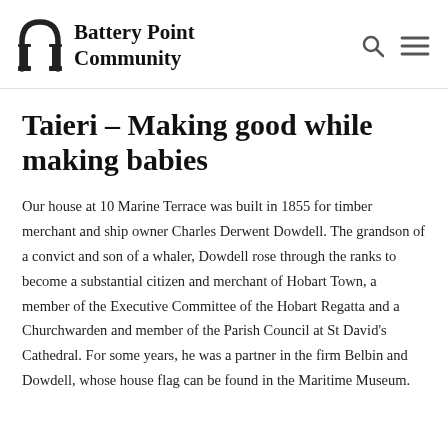Battery Point Community
Taieri – Making good while making babies
Our house at 10 Marine Terrace was built in 1855 for timber merchant and ship owner Charles Derwent Dowdell. The grandson of a convict and son of a whaler, Dowdell rose through the ranks to become a substantial citizen and merchant of Hobart Town, a member of the Executive Committee of the Hobart Regatta and a Churchwarden and member of the Parish Council at St David's Cathedral. For some years, he was a partner in the firm Belbin and Dowdell, whose house flag can be found in the Maritime Museum.